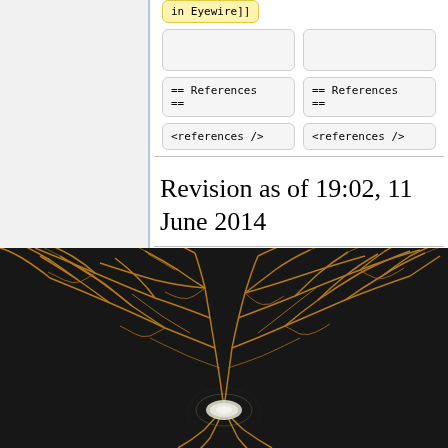in Eyewire]]
== References ==
== References ==
<references />
<references />
Revision as of 19:02, 11 June 2014
[Figure (illustration): Dark background scientific visualization of a neuron with golden/amber colored dendrite branches radiating outward from a central cell body, shown on a near-black background. The image shows intricate branching patterns of neural dendrites in an Eyewire-style rendering.]